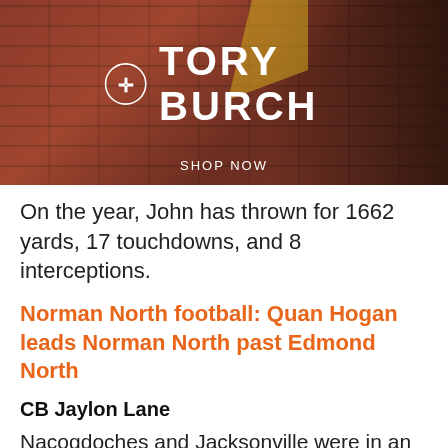[Figure (photo): Tory Burch advertisement banner with logo on brick background, 'SHOP NOW' text at bottom]
On the year, John has thrown for 1662 yards, 17 touchdowns, and 8 interceptions.
Norman North football: Quan Hogan leads Norman North past Edmond North
CB Jaylon Lane
Nacogdoches and Jacksonville were in an absolute slugfest on Friday night, as the game went to five overtime periods. Unfortunately, Jacksonville left with the win 85-79. Amazingly enough, this match-up has a history of classic finishes as the two teams were involved in a 10 overtime game back in 2013.